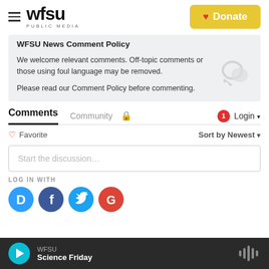WFSU PUBLIC MEDIA | Donate
WFSU News Comment Policy
We welcome relevant comments. Off-topic comments or those using foul language may be removed.
Please read our Comment Policy before commenting.
Comments   Community   🔒   1   Login ▾
♡ Favorite   Sort by Newest ▾
Start the discussion...
LOG IN WITH
[Figure (screenshot): Social login icons: Disqus (D), Facebook (f), Twitter bird, Google (G)]
WFSU | Science Friday